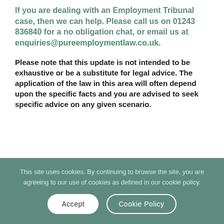If you are dealing with an Employment Tribunal case, then we can help. Please call us on 01243 836840 for a no obligation chat, or email us at enquiries@pureemploymentlaw.co.uk.
Please note that this update is not intended to be exhaustive or be a substitute for legal advice. The application of the law in this area will often depend upon the specific facts and you are advised to seek specific advice on any given scenario.
Share this article:
This site uses cookies. By continuing to browse the site, you are agreeing to our use of cookies as defined in our cookie policy.